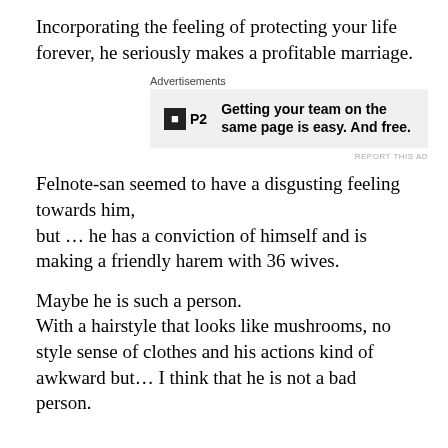Incorporating the feeling of protecting your life forever, he seriously makes a profitable marriage.
[Figure (other): Advertisement banner for P2 with logo and text: Getting your team on the same page is easy. And free.]
Felnote-san seemed to have a disgusting feeling towards him,
but … he has a conviction of himself and is making a friendly harem with 36 wives.
Maybe he is such a person.
With a hairstyle that looks like mushrooms, no style sense of clothes and his actions kind of awkward but… I think that he is not a bad person.